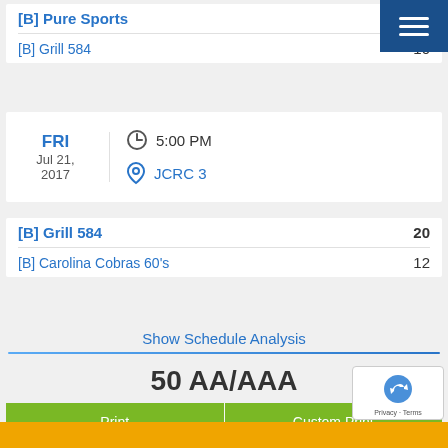[B] Pure Sports
[B] Grill 584   10
FRI Jul 21, 2017  5:00 PM  JCRC 3
[B] Grill 584   20
[B] Carolina Cobras 60's   12
Show Schedule Analysis
50 AA/AAA
Print   Custom Print
Subscribe